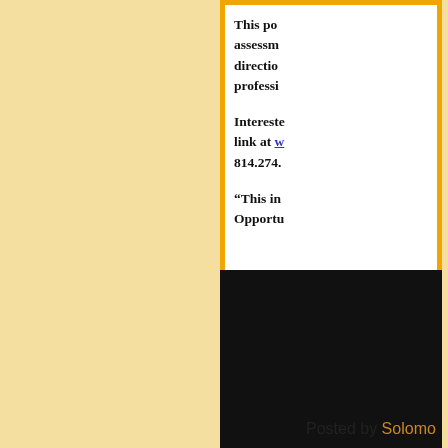This post includes assessment directions for professionals.
Interested link at w... 814.274....
“This in Opportu...
Posted by Solomo...